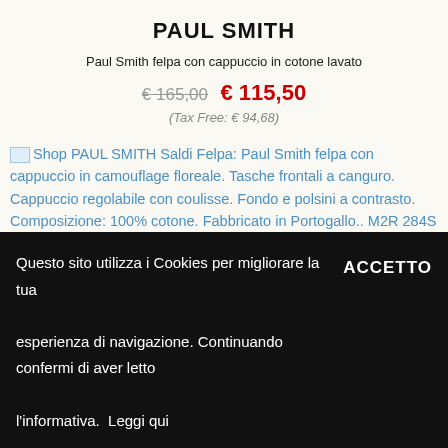PAUL SMITH
Paul Smith felpa con cappuccio in cotone lavato
€165,00  € 115,50
(Tax Free: € 94,68)
[Figure (other): Broken image placeholder with alt text: Shop PAUL SMITH Saldi Felpa: Paul Smith felpa con cappuccio in camouflage floreale. Tasche frontali a canguro. Cappuccio regolabile con coulisse. Fondo e polsini a contrasto. Composizione: 100% cotone. Fabbricato in Portogallo.. M2R 284S H21505-38]
PAUL SMITH
Paul Smith felpa con cappuccio in camouflage floreale
Questo sito utilizza i Cookies per migliorare la tua esperienza di navigazione. Continuando confermi di aver letto l'informativa. Leggi qui
ACCETTO